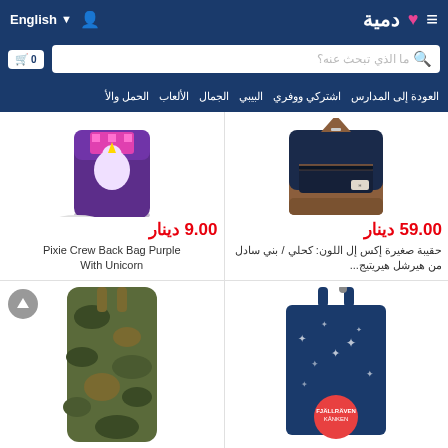Dumya e-commerce website header with logo (دمية), English language selector, search bar, and navigation menu
[Figure (screenshot): E-commerce product listing page in Arabic showing backpacks. Top navigation has English language selector and دمية logo. Search bar with Arabic placeholder 'ما الذي تبحث عنه?'. Nav links: العودة إلى المدارس, اشتركي ووفري, البيبي, الجمال, الألعاب, الحمل والأ. Four product cards: (1) Pixie Crew Back Bag Purple With Unicorn - 9.00 دينار, (2) Herschel Heritage small navy/tan backpack - 59.00 دينار, (3) camouflage backpack (partial), (4) Fjallraven Kanken blue backpack (partial).]